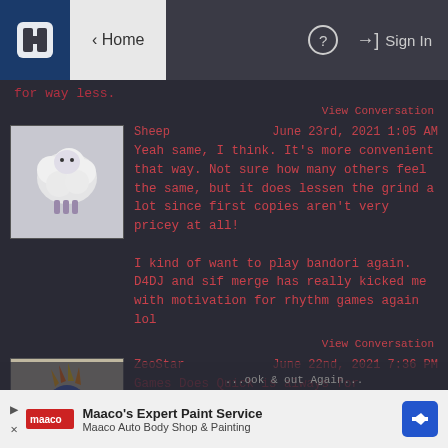Home | ? | Sign In
for way less.
View Conversation
Sheep   June 23rd, 2021 1:05 AM
Yeah same, I think. It's more convenient that way. Not sure how many others feel the same, but it does lessen the grind a lot since first copies aren't very pricey at all!

I kind of want to play bandori again. D4DJ and sif merge has really kicked me with motivation for rhythm games again lol
View Conversation
ZeoStar   June 22nd, 2021 7:36 PM
Games Does Quick is always for shasitu...
Maaco's Expert Paint Service
Maaco Auto Body Shop & Painting